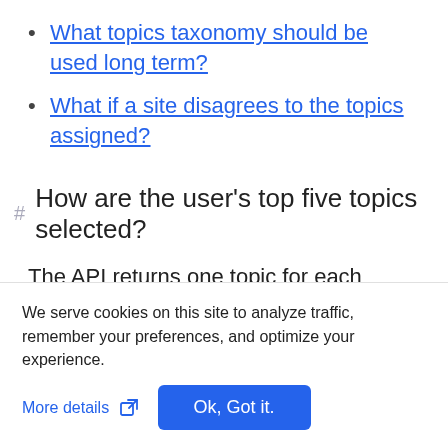What topics taxonomy should be used long term?
What if a site disagrees to the topics assigned?
How are the user's top five topics selected?
The API returns one topic for each epoch, up to a maximum of three. If three are returned, this
We serve cookies on this site to analyze traffic, remember your preferences, and optimize your experience.
More details  Ok, Got it.